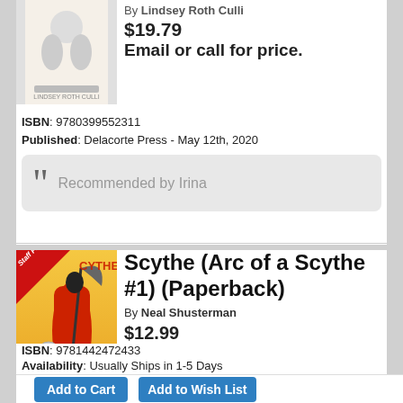[Figure (photo): Book cover image (top, partially visible)]
By Lindsey Roth Culli
$19.79
Email or call for price.
ISBN: 9780399552311
Published: Delacorte Press - May 12th, 2020
““ Recommended by Irina
[Figure (photo): Scythe book cover with Staff Pick ribbon, red cloaked figure with scythe, Neal Shusterman]
Scythe (Arc of a Scythe #1) (Paperback)
By Neal Shusterman
$12.99
ISBN: 9781442472433
Availability: Usually Ships in 1-5 Days
Published: Simon & Schuster Books for Young Readers - November 28th, 2017
Add to Cart
Add to Wish List